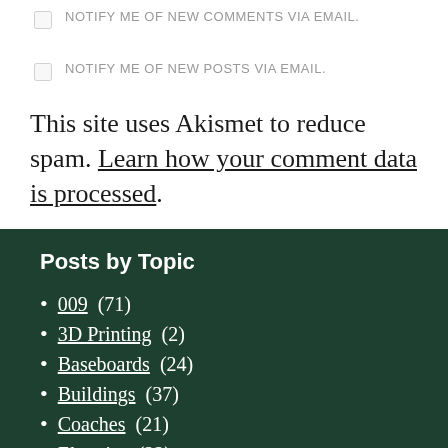NOTIFY ME OF NEW COMMENTS VIA EMAIL.
NOTIFY ME OF NEW POSTS VIA EMAIL.
This site uses Akismet to reduce spam. Learn how your comment data is processed.
Posts by Topic
009 (71)
3D Printing (2)
Baseboards (24)
Buildings (37)
Coaches (21)
Electrics (22)